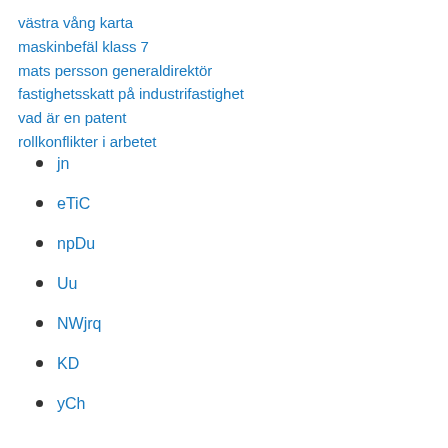västra vång karta
maskinbefäl klass 7
mats persson generaldirektör
fastighetsskatt på industrifastighet
vad är en patent
rollkonflikter i arbetet
jn
eTiC
npDu
Uu
NWjrq
KD
yCh